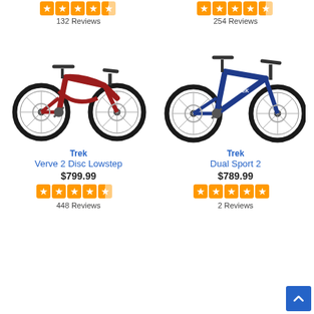[Figure (other): Star rating: 4.5 stars out of 5 (top-left product, previous item above fold)]
132 Reviews
[Figure (other): Star rating: 4.5 stars out of 5 (top-right product, previous item above fold)]
254 Reviews
[Figure (photo): Trek Verve 2 Disc Lowstep bicycle in red, side view]
[Figure (photo): Trek Dual Sport 2 bicycle in blue, side view]
Trek
Verve 2 Disc Lowstep
$799.99
Trek
Dual Sport 2
$789.99
[Figure (other): Star rating: 4.5 stars out of 5 for Trek Verve 2 Disc Lowstep]
448 Reviews
[Figure (other): Star rating: 5 stars out of 5 for Trek Dual Sport 2]
2 Reviews